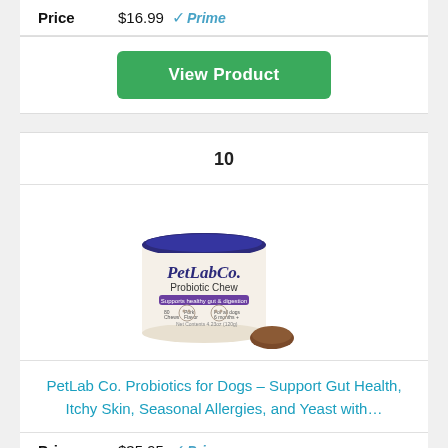| Price |  |
| --- | --- |
| Price | $16.99 Prime |
View Product
10
[Figure (photo): PetLab Co. Probiotic Chew product can with blue lid and a chew piece in front]
PetLab Co. Probiotics for Dogs – Support Gut Health, Itchy Skin, Seasonal Allergies, and Yeast with…
Price $35.95 Prime